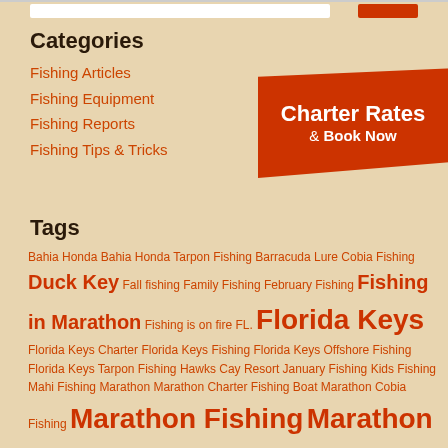Categories
Fishing Articles
Fishing Equipment
Fishing Reports
Fishing Tips & Tricks
[Figure (other): Orange banner with text: Charter Rates & Book Now]
Tags
Bahia Honda Bahia Honda Tarpon Fishing Barracuda Lure Cobia Fishing Duck Key Fall fishing Family Fishing February Fishing Fishing in Marathon Fishing is on fire FL. Florida Keys Florida Keys Charter Florida Keys Fishing Florida Keys Offshore Fishing Florida Keys Tarpon Fishing Hawks Cay Resort January Fishing Kids Fishing Mahi Fishing Marathon Marathon Charter Fishing Boat Marathon Cobia Fishing Marathon Fishing Marathon Fishing charter Marathon Fishing Trip Marathon Florida Fishing Marathon Grouper Fishing Marathon Tarpon Fishing Marathon wreck Miami middle keys wreck Newark New Jersey Offshore Fishing Rapala Rapala Subwalk Redfish Fishing Report Shark Fishing Snapper Tarpon Fishing Tuna Fishing vacation in the florida keys Wreck Fishing Yellowtail Snapper Fishing